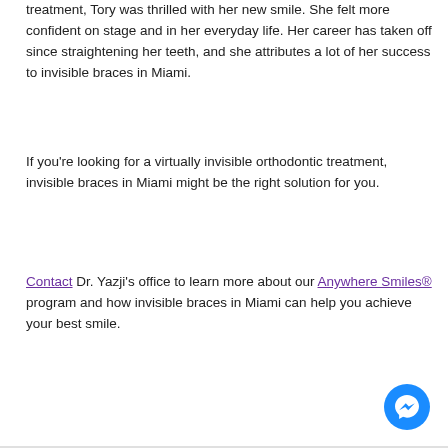treatment, Tory was thrilled with her new smile. She felt more confident on stage and in her everyday life. Her career has taken off since straightening her teeth, and she attributes a lot of her success to invisible braces in Miami.
If you're looking for a virtually invisible orthodontic treatment, invisible braces in Miami might be the right solution for you.
Contact Dr. Yazji's office to learn more about our Anywhere Smiles® program and how invisible braces in Miami can help you achieve your best smile.